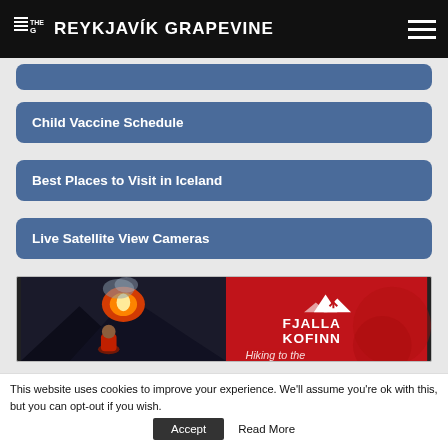The Reykjavík Grapevine
Child Vaccine Schedule
Best Places to Visit in Iceland
Live Satellite View Cameras
[Figure (photo): Advertisement image split in two halves: left side shows a person in red jacket watching a volcanic eruption at night with glowing lava; right side shows red background with white mountain/hiker logo and text 'FJALLA KOFINN' and 'Hiking to the...']
This website uses cookies to improve your experience. We'll assume you're ok with this, but you can opt-out if you wish.
Accept
Read More